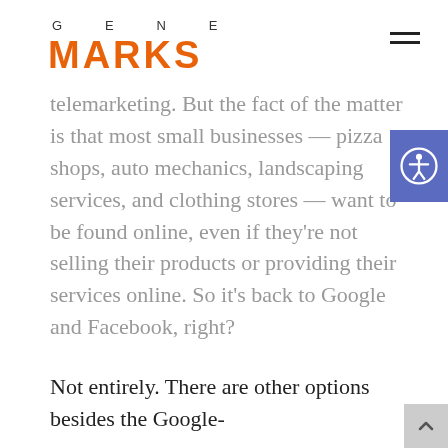GENE MARKS
telemarketing. But the fact of the matter is that most small businesses — pizza shops, auto mechanics, landscaping services, and clothing stores — want to be found online, even if they're not selling their products or providing their services online. So it's back to Google and Facebook, right?
Not entirely. There are other options besides the Google-